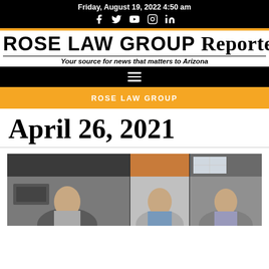Friday, August 19, 2022 4:50 am
ROSE LAW GROUP Reporter
Your source for news that matters to Arizona
ROSE LAW GROUP
April 26, 2021
[Figure (photo): Video conference screenshot showing three people in separate office settings arranged in a grid view]